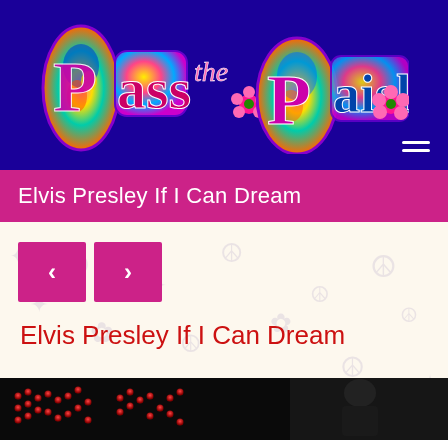[Figure (logo): Pass the Paisley colorful psychedelic logo on dark blue/purple background]
Elvis Presley If I Can Dream
[Figure (screenshot): Content area with psychedelic background pattern, navigation prev/next buttons, article heading 'Elvis Presley If I Can Dream', and bottom image showing a dark stage/performance photo with red LED-style lighting]
Elvis Presley If I Can Dream